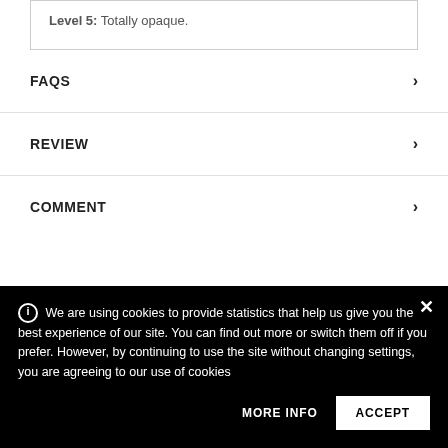Level 5: Totally opaque.
FAQS
REVIEW
COMMENT
We are using cookies to provide statistics that help us give you the best experience of our site. You can find out more or switch them off if you prefer. However, by continuing to use the site without changing settings, you are agreeing to our use of cookies